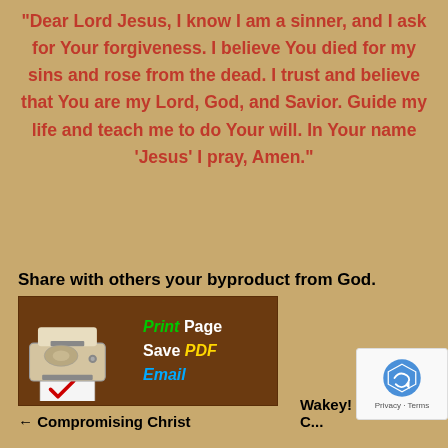"Dear Lord Jesus, I know I am a sinner, and I ask for Your forgiveness. I believe You died for my sins and rose from the dead. I trust and believe that You are my Lord, God, and Savior. Guide my life and teach me to do Your will. In Your name ‘Jesus’ I pray, Amen."
Share with others your byproduct from God.
[Figure (illustration): A printer icon with text: Print Page, Save PDF, Email on a brown background]
← Compromising Christ
Wakey! Quakey! C... Cries!